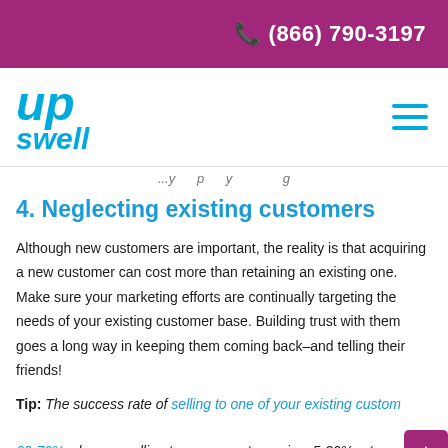☎ (866) 790-3197
[Figure (logo): Upswell logo in blue italic text with 'up' stacked above 'swell']
...y...p...y...g...
4. Neglecting existing customers
Although new customers are important, the reality is that acquiring a new customer can cost more than retaining an existing one. Make sure your marketing efforts are continually targeting the needs of your existing customer base. Building trust with them goes a long way in keeping them coming back–and telling their friends!
Tip: The success rate of selling to one of your existing customers is 60-70% whereas selling to a new customer is a 5-20% rate – so